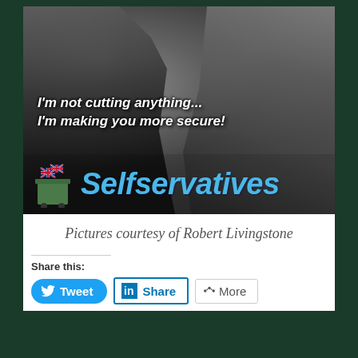[Figure (illustration): Black and white film still meme showing a man confronting a woman, with overlaid white italic bold text reading "I'm not cutting anything... I'm making you more secure!" and at the bottom a green bin/wheelie bin icon with Union Jack flags and the word 'Selfservatives' in large bold italic blue text.]
Pictures courtesy of Robert Livingstone
Share this: